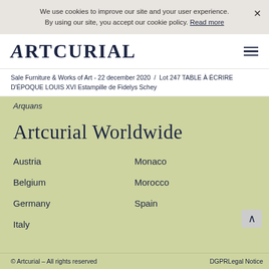We use cookies to improve our site and your user experience. By using our site, you accept our cookie policy. Read more
ARTCURIAL
Sale Furniture & Works of Art - 22 december 2020 / Lot 247 TABLE À ÉCRIRE D'ÉPOQUE LOUIS XVI Estampille de Fidelys Schey
Arquans
Artcurial Worldwide
Austria
Monaco
Belgium
Morocco
Germany
Spain
Italy
© Artcurial – All rights reserved    DGPRLegal Notice